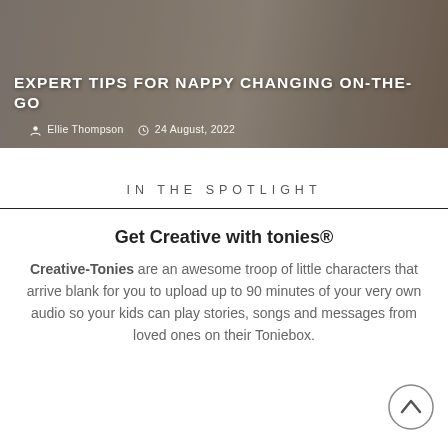[Figure (photo): Hero image of a person holding a baby in a diaper, with white shutters/blinds in the background. Overlaid with article title and metadata.]
EXPERT TIPS FOR NAPPY CHANGING ON-THE-GO
Ellie Thompson   24 August, 2022
IN THE SPOTLIGHT
Get Creative with tonies®
Creative-Tonies are an awesome troop of little characters that arrive blank for you to upload up to 90 minutes of your very own audio so your kids can play stories, songs and messages from loved ones on their Toniebox.